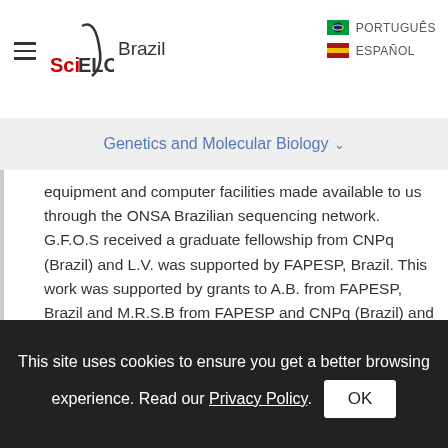SciELO Brazil — PORTUGUÊS / ESPAÑOL
Genetics and Molecular Biology
equipment and computer facilities made available to us through the ONSA Brazilian sequencing network. G.F.O.S received a graduate fellowship from CNPq (Brazil) and L.V. was supported by FAPESP, Brazil. This work was supported by grants to A.B. from FAPESP, Brazil and M.R.S.B from FAPESP and CNPq (Brazil) and the International Research Scholars Program of the Howard Hughes Medical Institute (USA).
Galtier N, Tourasse NJ and Guoy M (1999) A nonhiperthermophilic common ancestor to extant
This site uses cookies to ensure you get a better browsing experience. Read our Privacy Policy.